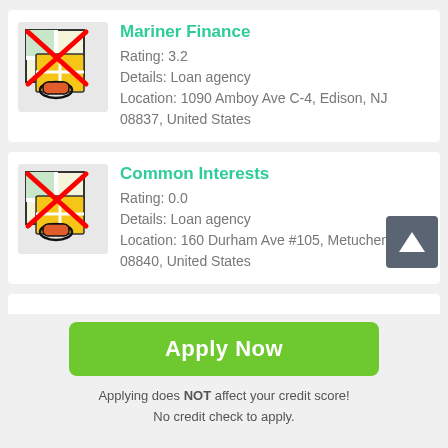[Figure (illustration): Map icon with red X overlay and location pin, for Mariner Finance]
Mariner Finance
Rating: 3.2
Details: Loan agency
Location: 1090 Amboy Ave C-4, Edison, NJ 08837, United States
[Figure (illustration): Map icon with red X overlay and location pin, for Common Interests]
Common Interests
Rating: 0.0
Details: Loan agency
Location: 160 Durham Ave #105, Metuchen NJ 08840, United States
Apply Now
Applying does NOT affect your credit score! No credit check to apply.